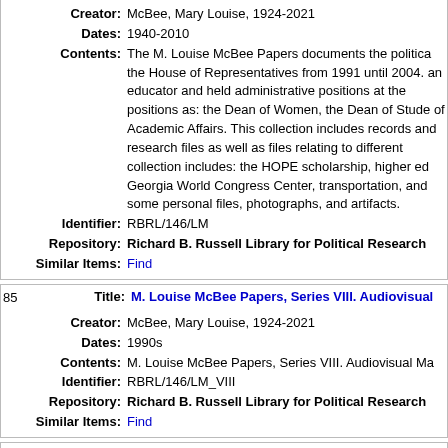Creator: McBee, Mary Louise, 1924-2021
Dates: 1940-2010
Contents: The M. Louise McBee Papers documents the political... the House of Representatives from 1991 until 2004. an educator and held administrative positions at the positions as: the Dean of Women, the Dean of Stude of Academic Affairs. This collection includes records and research files as well as files relating to different collection includes: the HOPE scholarship, higher ed Georgia World Congress Center, transportation, and some personal files, photographs, and artifacts.
Identifier: RBRL/146/LM
Repository: Richard B. Russell Library for Political Research
Similar Items: Find
85 Title: M. Louise McBee Papers, Series VIII. Audiovisual
Creator: McBee, Mary Louise, 1924-2021
Dates: 1990s
Contents: M. Louise McBee Papers, Series VIII. Audiovisual Ma
Identifier: RBRL/146/LM_VIII
Repository: Richard B. Russell Library for Political Research
Similar Items: Find
86 Title: William S. Yeates and Samuel W. McCallie papers